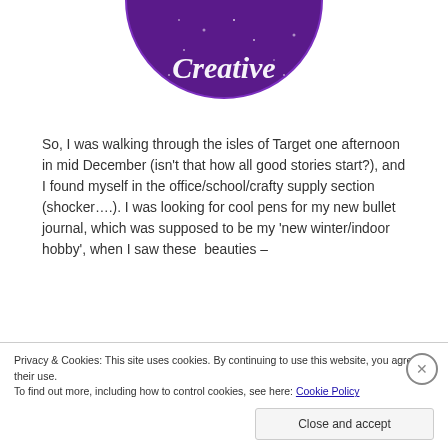[Figure (logo): Purple circular logo with cursive white text reading 'Creative', sparkle/glitter effect on dark purple background — partially cropped at top]
So, I was walking through the isles of Target one afternoon in mid December (isn't that how all good stories start?), and I found myself in the office/school/crafty supply section (shocker….). I was looking for cool pens for my new bullet journal, which was supposed to be my 'new winter/indoor hobby', when I saw these  beauties –
[Figure (photo): Partial photo strip showing a dark left section and a light/yellow lined paper section with colorful pen marks]
Privacy & Cookies: This site uses cookies. By continuing to use this website, you agree to their use.
To find out more, including how to control cookies, see here: Cookie Policy